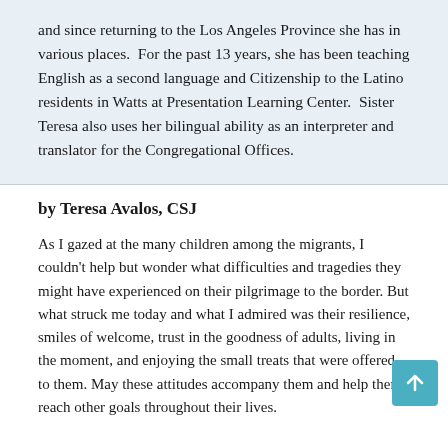and since returning to the Los Angeles Province she has in various places.  For the past 13 years, she has been teaching English as a second language and Citizenship to the Latino residents in Watts at Presentation Learning Center.  Sister Teresa also uses her bilingual ability as an interpreter and translator for the Congregational Offices.
by Teresa Avalos, CSJ
As I gazed at the many children among the migrants, I couldn't help but wonder what difficulties and tragedies they might have experienced on their pilgrimage to the border. But what struck me today and what I admired was their resilience, smiles of welcome, trust in the goodness of adults, living in the moment, and enjoying the small treats that were offered to them. May these attitudes accompany them and help them reach other goals throughout their lives.